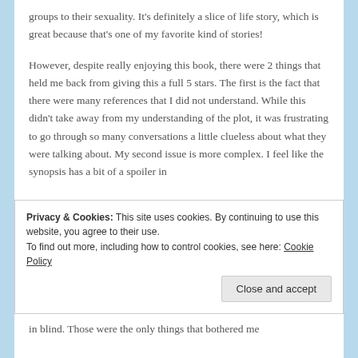groups to their sexuality. It's definitely a slice of life story, which is great because that's one of my favorite kind of stories!
However, despite really enjoying this book, there were 2 things that held me back from giving this a full 5 stars. The first is the fact that there were many references that I did not understand. While this didn't take away from my understanding of the plot, it was frustrating to go through so many conversations a little clueless about what they were talking about. My second issue is more complex. I feel like the synopsis has a bit of a spoiler in
Privacy & Cookies: This site uses cookies. By continuing to use this website, you agree to their use.
To find out more, including how to control cookies, see here: Cookie Policy
in blind. Those were the only things that bothered me